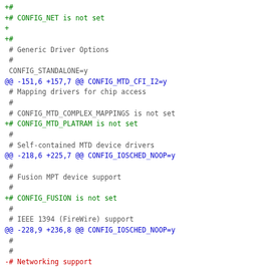Diff/patch code listing showing kernel configuration changes including CONFIG_NET, CONFIG_STANDALONE, CONFIG_MTD mappings, CONFIG_MTD_PLATRAM, CONFIG_FUSION, IEEE 1394 FireWire support, Networking support, and Network device support.